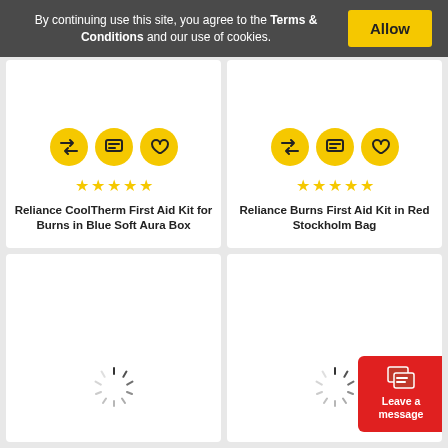By continuing use this site, you agree to the Terms & Conditions and our use of cookies.
Allow
[Figure (screenshot): Product card for Reliance CoolTherm First Aid Kit for Burns in Blue Soft Aura Box, showing three yellow action icon circles (shuffle, comment, heart), 5 yellow stars, and product title]
Reliance CoolTherm First Aid Kit for Burns in Blue Soft Aura Box
[Figure (screenshot): Product card for Reliance Burns First Aid Kit in Red Stockholm Bag, showing three yellow action icon circles (shuffle, comment, heart), 5 yellow stars, and product title]
Reliance Burns First Aid Kit in Red Stockholm Bag
[Figure (screenshot): Bottom-left product card showing a loading spinner]
[Figure (screenshot): Bottom-right product card showing a loading spinner with a Leave a message chat button overlay]
Leave a message